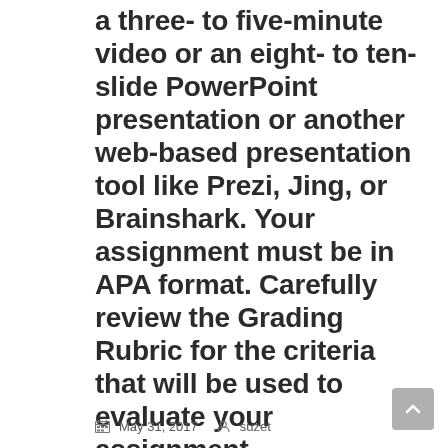a three- to five-minute video or an eight- to ten-slide PowerPoint presentation or another web-based presentation tool like Prezi, Jing, or Brainshark. Your assignment must be in APA format. Carefully review the Grading Rubric for the criteria that will be used to evaluate your assignment.
May 31, 2017   suzet